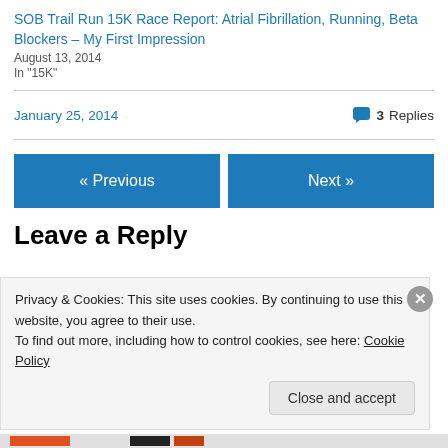SOB Trail Run 15K Race Report: Atrial Fibrillation, Running, Beta Blockers – My First Impression
August 13, 2014
In "15K"
January 25, 2014    3 Replies
« Previous
Next »
Leave a Reply
Privacy & Cookies: This site uses cookies. By continuing to use this website, you agree to their use.
To find out more, including how to control cookies, see here: Cookie Policy
Close and accept